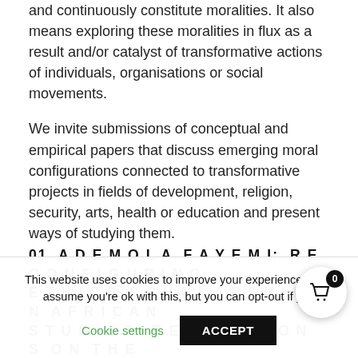and continuously constitute moralities. It also means exploring these moralities in flux as a result and/or catalyst of transformative actions of individuals, organisations or social movements.
We invite submissions of conceptual and empirical papers that discuss emerging moral configurations connected to transformative projects in fields of development, religion, security, arts, health or education and present ways of studying them.
01 ADEMOLA FAYEMI: RECONFIGURING ETHICS SCHOLARSHIP IN AFRICAN STUDIES: REFLECTIONS ON THE
This website uses cookies to improve your experience. We'll assume you're ok with this, but you can opt-out if you
Cookie settings    ACCEPT